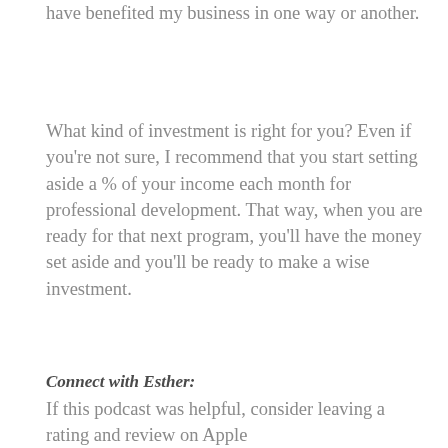have benefited my business in one way or another.
What kind of investment is right for you? Even if you're not sure, I recommend that you start setting aside a % of your income each month for professional development. That way, when you are ready for that next program, you'll have the money set aside and you'll be ready to make a wise investment.
Connect with Esther:
If this podcast was helpful, consider leaving a rating and review on Apple